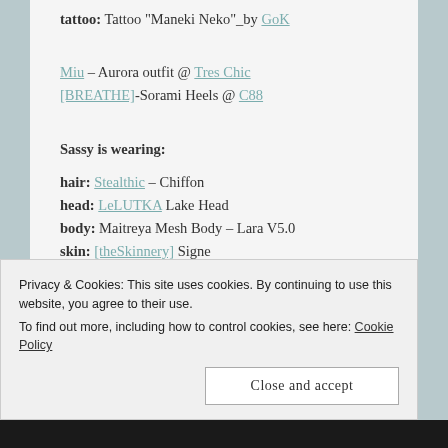tattoo: Tattoo "Maneki Neko"_by GoK
Miu – Aurora outfit @ Tres Chic
[BREATHE]-Sorami Heels @ C88
Sassy is wearing:
hair: Stealthic – Chiffon
head: LeLUTKA Lake Head
body: Maitreya Mesh Body – Lara V5.0
skin: [theSkinnery] Signe
*AvaWay* DORIS Necklaces
*AvaWay* LOVE Bracelets & Rings Set
Privacy & Cookies: This site uses cookies. By continuing to use this website, you agree to their use.
To find out more, including how to control cookies, see here: Cookie Policy